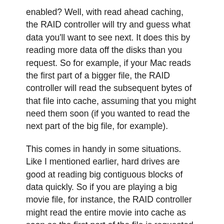enabled? Well, with read ahead caching, the RAID controller will try and guess what data you'll want to see next. It does this by reading more data off the disks than you request. So for example, if your Mac reads the first part of a bigger file, the RAID controller will read the subsequent bytes of that file into cache, assuming that you might need them soon (if you wanted to read the next part of the big file, for example).
This comes in handy in some situations. Like I mentioned earlier, hard drives are good at reading big contiguous blocks of data quickly. So if you are playing a big movie file, for instance, the RAID controller might read the entire movie into cache as soon as the first part of the file is requested. Then as you play the movie, the cache already has the data you need available. The subsequent data is not only available more quickly, but the other disks in your RAID volume are also free to handle other requests.